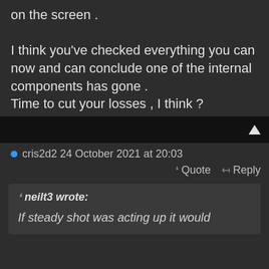on the screen . I think you've checked everything you can now and can conclude one of the internal components has gone . Time to cut your losses , I think ?
cris2d2 24 October 2021 at 20:03
Quote   Reply
neilt3 wrote:
If steady shot was acting up it would